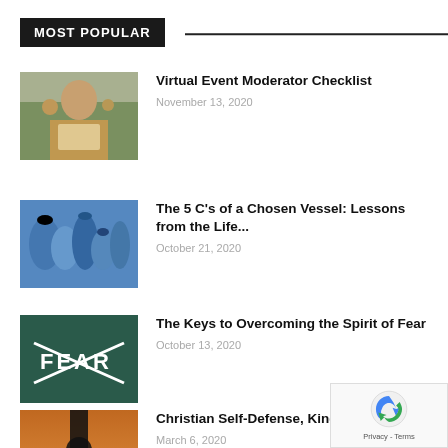MOST POPULAR
Virtual Event Moderator Checklist | November 13, 2020
The 5 C's of a Chosen Vessel: Lessons from the Life... | October 21, 2020
The Keys to Overcoming the Spirit of Fear | October 13, 2020
Christian Self-Defense, Kingdom-Style | March 6, 2020